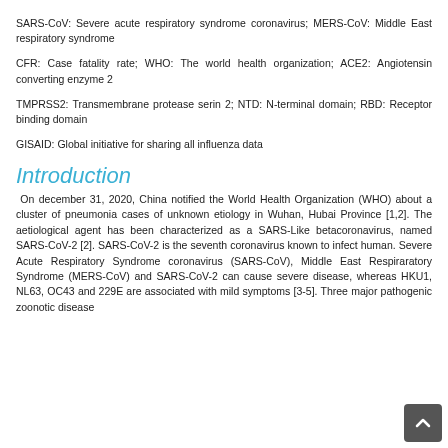SARS-CoV: Severe acute respiratory syndrome coronavirus; MERS-CoV: Middle East respiratory syndrome
CFR: Case fatality rate; WHO: The world health organization; ACE2: Angiotensin converting enzyme 2
TMPRSS2: Transmembrane protease serin 2; NTD: N-terminal domain; RBD: Receptor binding domain
GISAID: Global initiative for sharing all influenza data
Introduction
On december 31, 2020, China notified the World Health Organization (WHO) about a cluster of pneumonia cases of unknown etiology in Wuhan, Hubai Province [1,2]. The aetiological agent has been characterized as a SARS-Like betacoronavirus, named SARS-CoV-2 [2]. SARS-CoV-2 is the seventh coronavirus known to infect human. Severe Acute Respiratory Syndrome coronavirus (SARS-CoV), Middle East Respiraratory Syndrome (MERS-CoV) and SARS-CoV-2 can cause severe disease, whereas HKU1, NL63, OC43 and 229E are associated with mild symptoms [3-5]. Three major pathogenic zoonotic disease